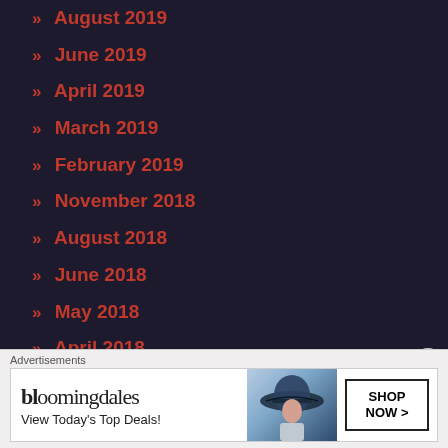» August 2019
» June 2019
» April 2019
» March 2019
» February 2019
» November 2018
» August 2018
» June 2018
» May 2018
» April 2018
» March 2018
» February 2018
Advertisements
[Figure (other): Bloomingdales advertisement banner: 'bloomingdales View Today's Top Deals!' with woman in hat and 'SHOP NOW >' button]